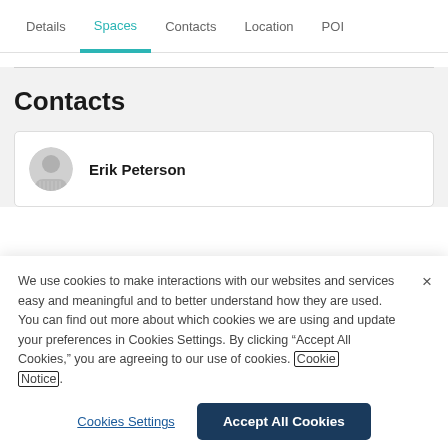Details | Spaces | Contacts | Location | POI
Contacts
Erik Peterson
We use cookies to make interactions with our websites and services easy and meaningful and to better understand how they are used. You can find out more about which cookies we are using and update your preferences in Cookies Settings. By clicking “Accept All Cookies,” you are agreeing to our use of cookies. Cookie Notice.
Cookies Settings
Accept All Cookies